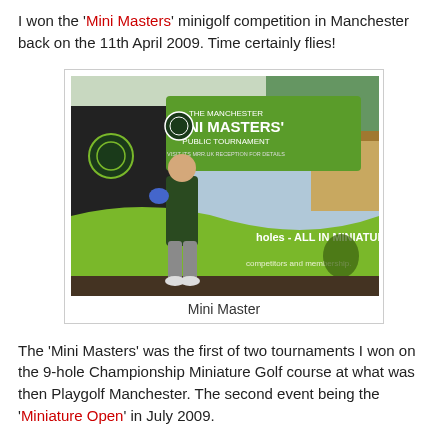I won the 'Mini Masters' minigolf competition in Manchester back on the 11th April 2009. Time certainly flies!
[Figure (photo): A person standing in front of the Manchester 'Mini Masters' Public Tournament banner at a miniature golf venue, holding what appears to be a blue object. Green signage visible including text 'holes - ALL IN MINIATURE!!' and 'competitors and membership.']
Mini Master
The 'Mini Masters' was the first of two tournaments I won on the 9-hole Championship Miniature Golf course at what was then Playgolf Manchester. The second event being the 'Miniature Open' in July 2009.